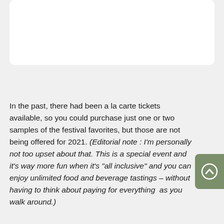[Figure (other): White rounded rectangle placeholder image area at top of page]
In the past, there had been a la carte tickets available, so you could purchase just one or two samples of the festival favorites, but those are not being offered for 2021. (Editorial note : I'm personally not too upset about that. This is a special event and it's way more fun when it's "all inclusive" and you can enjoy unlimited food and beverage tastings – without having to think about paying for everything  as you walk around.)